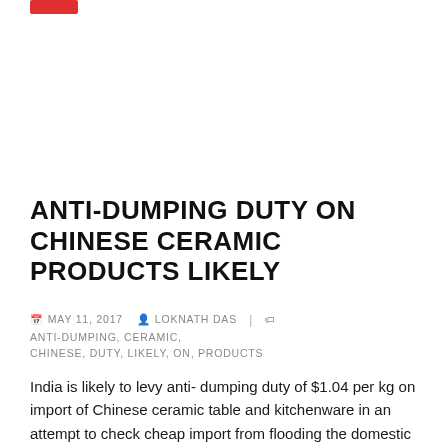ANTI-DUMPING DUTY ON CHINESE CERAMIC PRODUCTS LIKELY
MAY 11, 2017  LOKNATH DAS  ANTI-DUMPING, CERAMIC, CHINESE, DUTY, LIKELY, ON, PRODUCTS
India is likely to levy anti- dumping duty of $1.04 per kg on import of Chinese ceramic table and kitchenware in an attempt to check cheap import from flooding the domestic market.